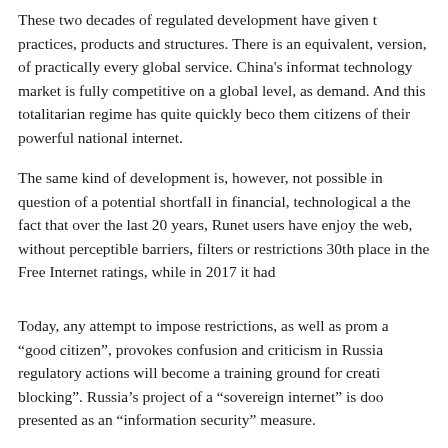These two decades of regulated development have given t practices, products and structures. There is an equivalent, version, of practically every global service. China's informat technology market is fully competitive on a global level, as demand. And this totalitarian regime has quite quickly beco them citizens of their powerful national internet.
The same kind of development is, however, not possible in question of a potential shortfall in financial, technological a the fact that over the last 20 years, Runet users have enjoy the web, without perceptible barriers, filters or restrictions 30th place in the Free Internet ratings, while in 2017 it had
Today, any attempt to impose restrictions, as well as prom a "good citizen", provokes confusion and criticism in Russia regulatory actions will become a training ground for creati blocking". Russia's project of a "sovereign internet" is doo presented as an "information security" measure.